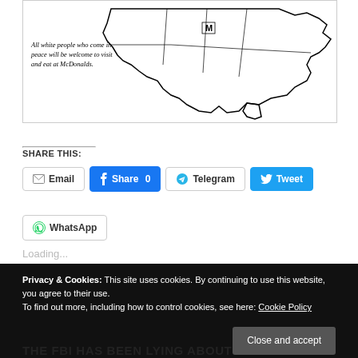[Figure (illustration): A hand-drawn map of the southeastern United States with a McDonald's logo marker. Text caption reads: 'All white people who come in peace will be welcome to visit and eat at McDonalds.']
SHARE THIS:
Email
Facebook Share 0
Telegram
Tweet
WhatsApp
Loading...
Privacy & Cookies: This site uses cookies. By continuing to use this website, you agree to their use. To find out more, including how to control cookies, see here: Cookie Policy
THE FBI HAS BEEN LYING ABOUT